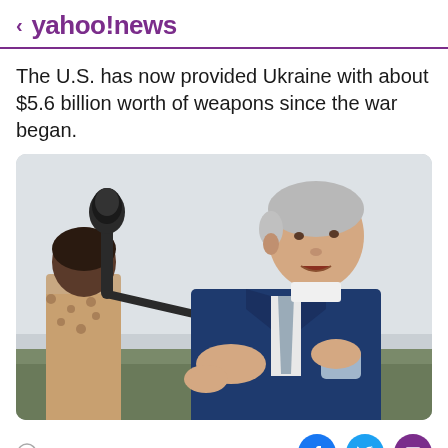< yahoo!news
The U.S. has now provided Ukraine with about $5.6 billion worth of weapons since the war began.
[Figure (photo): A man in a blue suit speaking to reporters, holding a face mask, gesturing with his hand. A reporter with a microphone is visible on the left.]
View comments